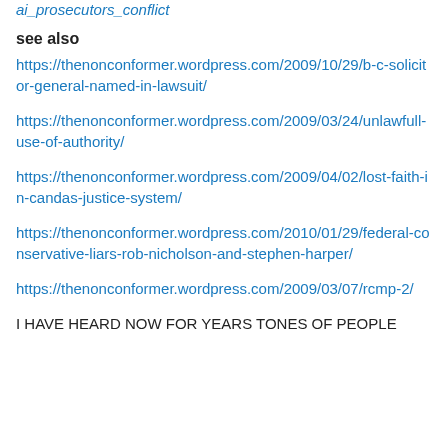ai_prosecutors_conflict
see also
https://thenonconformer.wordpress.com/2009/10/29/b-c-solicitor-general-named-in-lawsuit/
https://thenonconformer.wordpress.com/2009/03/24/unlawfull-use-of-authority/
https://thenonconformer.wordpress.com/2009/04/02/lost-faith-in-candas-justice-system/
https://thenonconformer.wordpress.com/2010/01/29/federal-conservative-liars-rob-nicholson-and-stephen-harper/
https://thenonconformer.wordpress.com/2009/03/07/rcmp-2/
I HAVE HEARD NOW FOR YEARS TONES OF PEOPLE